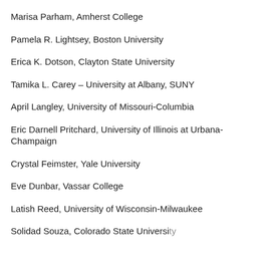Marisa Parham, Amherst College
Pamela R. Lightsey, Boston University
Erica K. Dotson, Clayton State University
Tamika L. Carey – University at Albany, SUNY
April Langley, University of Missouri-Columbia
Eric Darnell Pritchard, University of Illinois at Urbana-Champaign
Crystal Feimster, Yale University
Eve Dunbar, Vassar College
Latish Reed, University of Wisconsin-Milwaukee
Solidad Souza, Colorado State University